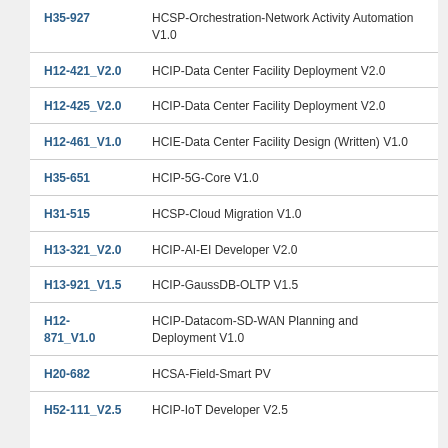H35-927  HCSP-Orchestration-Network Activity Automation V1.0
H12-421_V2.0  HCIP-Data Center Facility Deployment V2.0
H12-425_V2.0  HCIP-Data Center Facility Deployment V2.0
H12-461_V1.0  HCIE-Data Center Facility Design (Written) V1.0
H35-651  HCIP-5G-Core V1.0
H31-515  HCSP-Cloud Migration V1.0
H13-321_V2.0  HCIP-AI-EI Developer V2.0
H13-921_V1.5  HCIP-GaussDB-OLTP V1.5
H12-871_V1.0  HCIP-Datacom-SD-WAN Planning and Deployment V1.0
H20-682  HCSA-Field-Smart PV
H52-111_V2.5  HCIP-IoT Developer V2.5